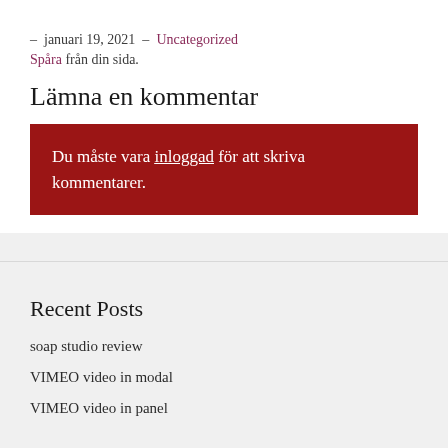– januari 19, 2021 – Uncategorized Spåra från din sida.
Lämna en kommentar
Du måste vara inloggad för att skriva kommentarer.
Recent Posts
soap studio review
VIMEO video in modal
VIMEO video in panel